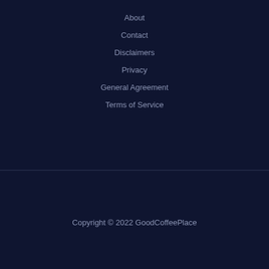About
Contact
Disclaimers
Privacy
General Agreement
Terms of Service
Copyright © 2022 GoodCoffeePlace